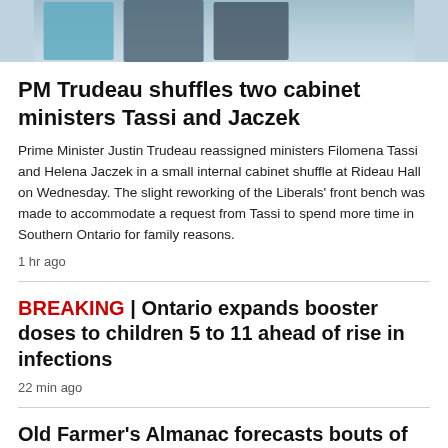[Figure (photo): Partial photo strip showing people including a woman in a teal/turquoise outfit, a man in a dark suit, and a woman in a floral dark dress, cropped at the top of the page]
PM Trudeau shuffles two cabinet ministers Tassi and Jaczek
Prime Minister Justin Trudeau reassigned ministers Filomena Tassi and Helena Jaczek in a small internal cabinet shuffle at Rideau Hall on Wednesday. The slight reworking of the Liberals' front bench was made to accommodate a request from Tassi to spend more time in Southern Ontario for family reasons.
1 hr ago
BREAKING | Ontario expands booster doses to children 5 to 11 ahead of rise in infections
22 min ago
Old Farmer's Almanac forecasts bouts of 'extra-deep cold' in Canada this winter